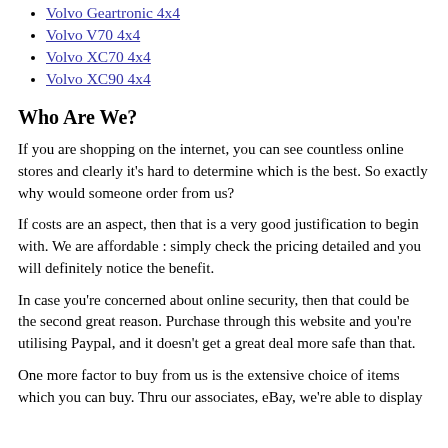Volvo Geartronic 4x4
Volvo V70 4x4
Volvo XC70 4x4
Volvo XC90 4x4
Who Are We?
If you are shopping on the internet, you can see countless online stores and clearly it's hard to determine which is the best. So exactly why would someone order from us?
If costs are an aspect, then that is a very good justification to begin with. We are affordable : simply check the pricing detailed and you will definitely notice the benefit.
In case you're concerned about online security, then that could be the second great reason. Purchase through this website and you're utilising Paypal, and it doesn't get a great deal more safe than that.
One more factor to buy from us is the extensive choice of items which you can buy. Thru our associates, eBay, we're able to display